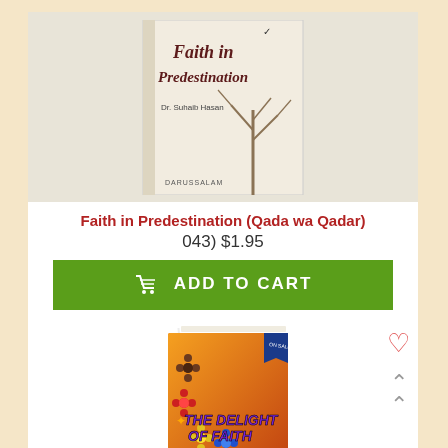[Figure (photo): Book cover of 'Faith in Predestination' by Dr. Suhaib Hasan, published by Darussalam. White/cream cover with bold italic dark red title text and bare tree silhouette image.]
Faith in Predestination (Qada wa Qadar)
043) $1.95
ADD TO CART
[Figure (photo): Book cover of 'The Delight of Faith', colorful cover with orange/red background, flower decorations in various colors, crescent moon at bottom, and blue ribbon in top right corner.]
[Figure (other): Heart icon (wishlist) and upward chevron arrow (back to top) icons on the right side]